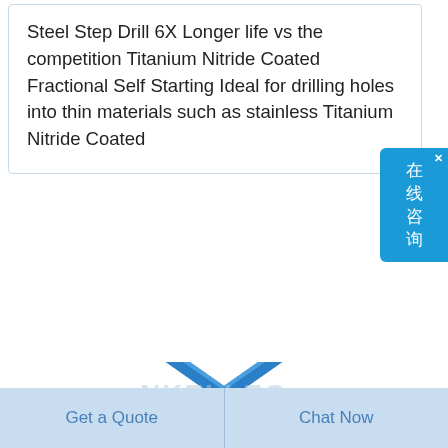Steel Step Drill 6X Longer life vs the competition Titanium Nitride Coated Fractional Self Starting Ideal for drilling holes into thin materials such as stainless Titanium Nitride Coated
[Figure (photo): Blue titanium nitride coated step drill bits crossed over each other with a partial red circular element visible in the bottom right. Watermark text NKELLEG visible in the center.]
Get a Quote
Chat Now